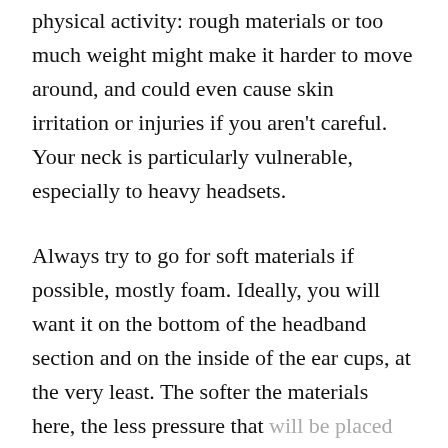physical activity: rough materials or too much weight might make it harder to move around, and could even cause skin irritation or injuries if you aren't careful. Your neck is particularly vulnerable, especially to heavy headsets.
Always try to go for soft materials if possible, mostly foam. Ideally, you will want it on the bottom of the headband section and on the inside of the ear cups, at the very least. The softer the materials here, the less pressure that will be placed on your head, which makes them far more comfortable without actually reducing